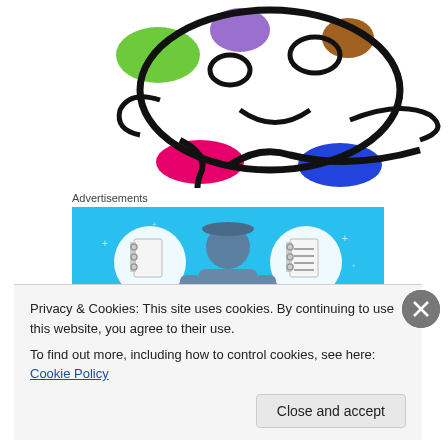[Figure (illustration): Colorful doodle illustration of a smiling face/character with colored oval shapes (green, purple, pink/magenta, blue, brown, blue-purple) on white background, drawn in thick black marker style]
Advertisements
[Figure (infographic): Day One journaling app advertisement. Blue background with illustration of a person holding a phone, flanked by two circular icons showing a blank notebook and a lined notebook. Text reads 'DAY ONE' and 'The only journaling app you'll ever need']
Privacy & Cookies: This site uses cookies. By continuing to use this website, you agree to their use.
To find out more, including how to control cookies, see here: Cookie Policy